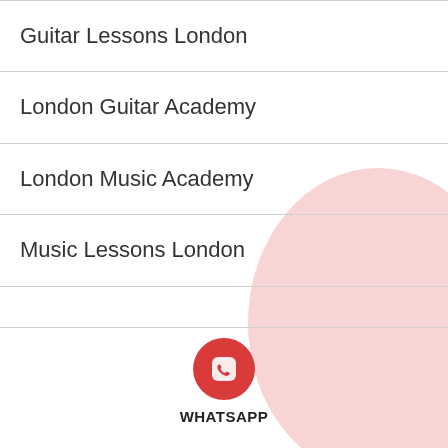Guitar Lessons London
London Guitar Academy
London Music Academy
Music Lessons London
[Figure (illustration): Light pink large circle decorative element in the bottom-right corner of the page]
[Figure (logo): Red circular WhatsApp-style phone icon button]
WHATSAPP